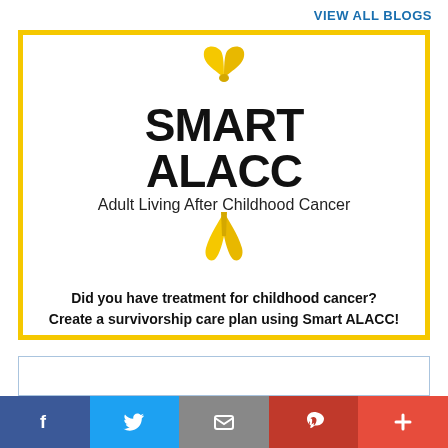VIEW ALL BLOGS
[Figure (logo): Smart ALACC logo with yellow ribbon and text: SMART ALACC Adult Living After Childhood Cancer. Yellow ribbon above and below the text. Inside a yellow-bordered card. Text reads: Did you have treatment for childhood cancer? Create a survivorship care plan using Smart ALACC!]
[Figure (infographic): Social share bar with Facebook (blue), Twitter (light blue), Mail (grey), Pinterest (red), and Plus (red) buttons]